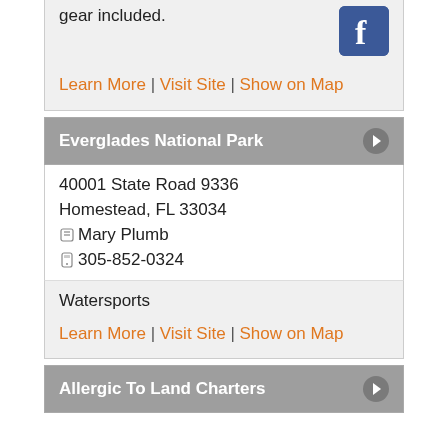gear included.
[Figure (logo): Facebook logo icon, blue square with white 'f']
Learn More | Visit Site | Show on Map
Everglades National Park
40001 State Road 9336
Homestead, FL 33034
Mary Plumb
305-852-0324
Watersports
Learn More | Visit Site | Show on Map
Allergic To Land Charters